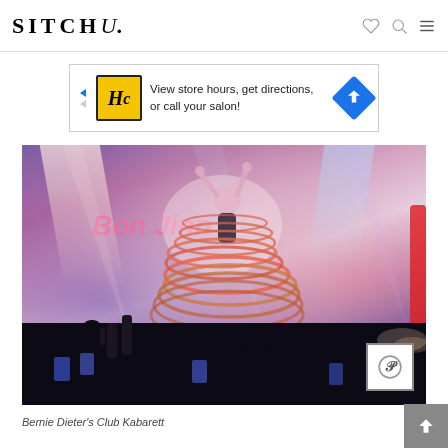SITCHU.
[Figure (photo): Advertisement banner: HC hair salon logo with text 'View store hours, get directions, or call your salon!']
[Figure (photo): Concert/entertainment photo of a performer spinning multiple hula hoops on stage with dramatic purple and pink stage lighting. Crowd silhouettes visible in foreground with phones raised. Venue name visible in neon lights in background.]
Bernie Dieter's Club Kabarett